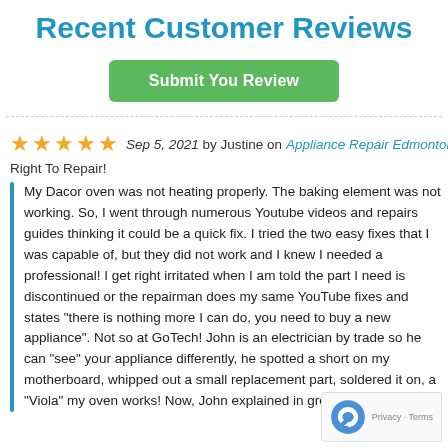Recent Customer Reviews
Submit You Review
Sep 5, 2021 by Justine on Appliance Repair Edmonton
Right To Repair!
My Dacor oven was not heating properly. The baking element was not working. So, I went through numerous Youtube videos and repairs guides thinking it could be a quick fix. I tried the two easy fixes that I was capable of, but they did not work and I knew I needed a professional! I get right irritated when I am told the part I need is discontinued or the repairman does my same YouTube fixes and states "there is nothing more I can do, you need to buy a new appliance". Not so at GoTech! John is an electrician by trade so he can "see" your appliance differently, he spotted a short on my motherboard, whipped out a small replacement part, soldered it on, and "Viola" my oven works! Now, John explained in great detail